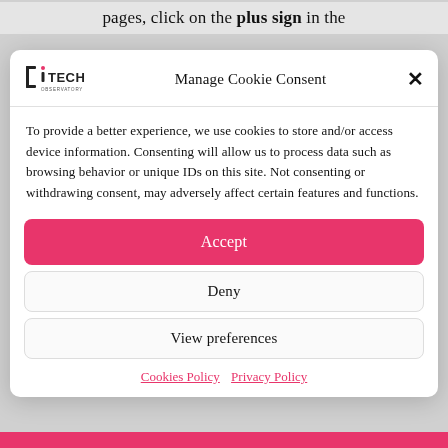pages, click on the plus sign in the
[Figure (screenshot): Manage Cookie Consent modal dialog with iTECH Observatory logo, Accept button, Deny button, View preferences button, and links to Cookies Policy and Privacy Policy]
Manage Cookie Consent
To provide a better experience, we use cookies to store and/or access device information. Consenting will allow us to process data such as browsing behavior or unique IDs on this site. Not consenting or withdrawing consent, may adversely affect certain features and functions.
Accept
Deny
View preferences
Cookies Policy  Privacy Policy